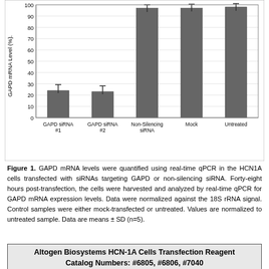[Figure (bar-chart): GAPD mRNA Level (%)]
Figure 1. GAPD mRNA levels were quantified using real-time qPCR in the HCN1A cells transfected with siRNAs targeting GAPD or non-silencing siRNA. Forty-eight hours post-transfection, the cells were harvested and analyzed by real-time qPCR for GAPD mRNA expression levels. Data were normalized against the 18S rRNA signal. Control samples were either mock-transfected or untreated. Values are normalized to untreated sample. Data are means ± SD (n=5).
Altogen Biosystems HCN-1A Cells Transfection Reagent Catalog Numbers: #6805, #6806, #7040